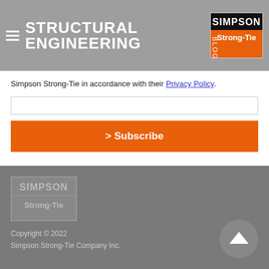STRUCTURAL ENGINEERING BLOG — Simpson Strong-Tie logo
Simpson Strong-Tie in accordance with their Privacy Policy.
> Subscribe
[Figure (logo): Simpson Strong-Tie logo in footer, grayscale]
Copyright © 2022
Simpson Strong-Tie Company Inc.